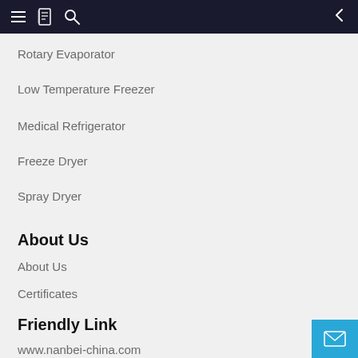Navigation bar with menu, book, search icons and back arrow
Rotary Evaporator
Low Temperature Freezer
Medical Refrigerator
Freeze Dryer
Spray Dryer
About Us
About Us
Certificates
Friendly Link
www.nanbei-china.com
www.nanbeiinstrument.com